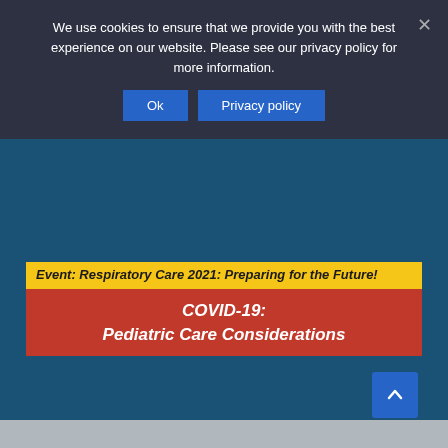We use cookies to ensure that we provide you with the best experience on our website. Please see our privacy policy for more information.
Ok | Privacy policy
Event: Respiratory Care 2021: Preparing for the Future!
COVID-19: Pediatric Care Considerations
[Figure (other): Gray placeholder content area below the event banner]